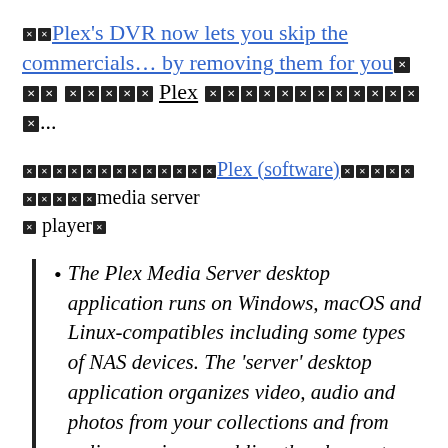[tofu][tofu]Plex's DVR now lets you skip the commercials… by removing them for you[tofu][tofu][tofu] [tofu][tofu][tofu][tofu][tofu] Plex [tofu][tofu][tofu][tofu][tofu][tofu][tofu][tofu][tofu][tofu][tofu][tofu][tofu]...
[tofu x13]Plex (software)[tofu x10]media server [tofu] player[tofu]
The Plex Media Server desktop application runs on Windows, macOS and Linux-compatibles including some types of NAS devices. The 'server' desktop application organizes video, audio and photos from your collections and from online services, enabling the players to access and stream the contents.